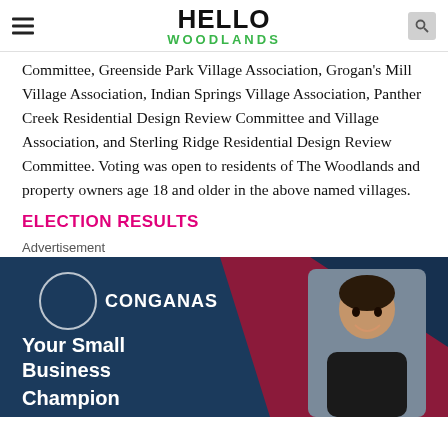HELLO WOODLANDS
Committee, Greenside Park Village Association, Grogan's Mill Village Association, Indian Springs Village Association, Panther Creek Residential Design Review Committee and Village Association, and Sterling Ridge Residential Design Review Committee. Voting was open to residents of The Woodlands and property owners age 18 and older in the above named villages.
ELECTION RESULTS
Advertisement
[Figure (illustration): Advertisement banner for Conganas - Your Small Business Champion, featuring logo with circle design and photo of a smiling man in dark background with navy and dark red geometric shapes.]